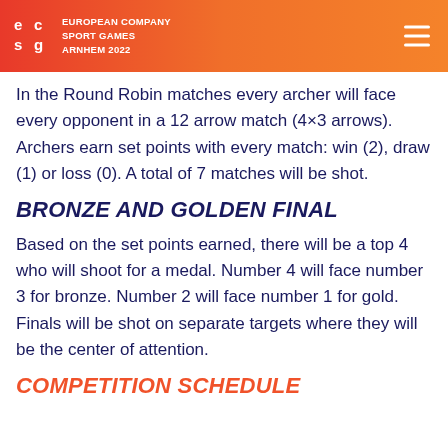EUROPEAN COMPANY SPORT GAMES ARNHEM 2022
In the Round Robin matches every archer will face every opponent in a 12 arrow match (4×3 arrows). Archers earn set points with every match: win (2), draw (1) or loss (0). A total of 7 matches will be shot.
BRONZE AND GOLDEN FINAL
Based on the set points earned, there will be a top 4 who will shoot for a medal. Number 4 will face number 3 for bronze. Number 2 will face number 1 for gold. Finals will be shot on separate targets where they will be the center of attention.
COMPETITION SCHEDULE